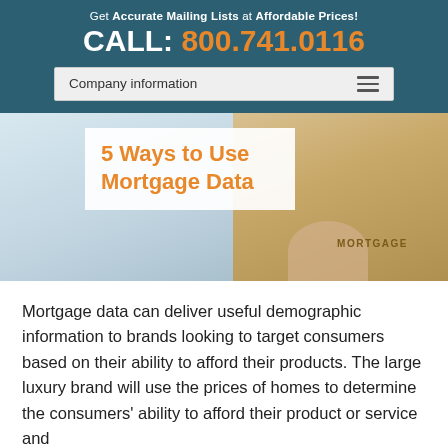Get Accurate Mailing Lists at Affordable Prices!
CALL: 800.741.0116
Company information
[Figure (photo): Hero image showing wooden blocks being stacked with the word MORTGAGE on one block, with an overlay box containing the article title '5 Ways to Use Mortgage Data']
5 Ways to Use Mortgage Data
Mortgage data can deliver useful demographic information to brands looking to target consumers based on their ability to afford their products. The large luxury brand will use the prices of homes to determine the consumers' ability to afford their product or service and